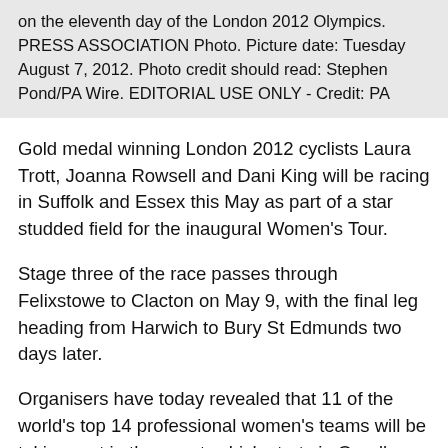on the eleventh day of the London 2012 Olympics. PRESS ASSOCIATION Photo. Picture date: Tuesday August 7, 2012. Photo credit should read: Stephen Pond/PA Wire. EDITORIAL USE ONLY - Credit: PA
Gold medal winning London 2012 cyclists Laura Trott, Joanna Rowsell and Dani King will be racing in Suffolk and Essex this May as part of a star studded field for the inaugural Women's Tour.
Stage three of the race passes through Felixstowe to Clacton on May 9, with the final leg heading from Harwich to Bury St Edmunds two days later.
Organisers have today revealed that 11 of the world's top 14 professional women's teams will be taking part in the event, which starts in Oundle on May 7.
Joining the already confirmed Marianne Vos and her